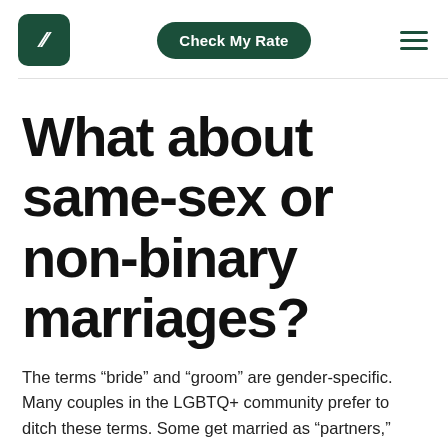Check My Rate
What about same-sex or non-binary marriages?
The terms “bride” and “groom” are gender-specific. Many couples in the LGBTQ+ community prefer to ditch these terms. Some get married as “partners,” while in other couples they may both prefer to be referred to as grooms or as brides.